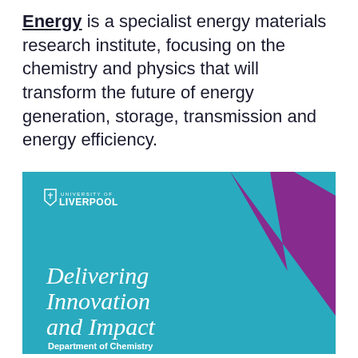Energy is a specialist energy materials research institute, focusing on the chemistry and physics that will transform the future of energy generation, storage, transmission and energy efficiency.
[Figure (illustration): University of Liverpool branded cover image with teal background, purple geometric triangular shapes on the right side, University of Liverpool logo in top-left corner, italic text 'Delivering Innovation and Impact' in large white font, and 'Department of Chemistry' in smaller white bold text below.]